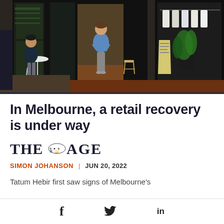[Figure (photo): Exterior of a Melbourne retail / café shop. A woman in a blue sweater and grey pants stands in the doorway. A man sits at an outdoor table on the left. Right side shows a clothing shop display with hanging garments and a large plant. A sandwich board sign is visible near the entrance.]
In Melbourne, a retail recovery is under way
[Figure (logo): The Age newspaper logo — 'THE [ornate emblem] AGE' in serif bold type]
SIMON JOHANSON  |  JUN 20, 2022
Tatum Hebir first saw signs of Melbourne's
[Figure (other): Social media sharing icons: Facebook (f), Twitter (bird), LinkedIn (in)]